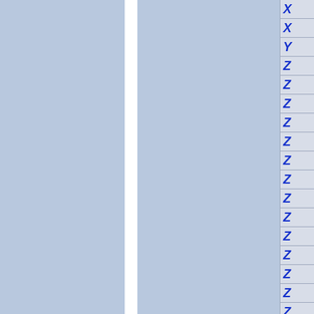[Figure (screenshot): A UI panel showing two large blue-gray content panels separated by a white vertical divider, with a right sidebar containing alphabetical index letters: X, X, Y, Z, Z, Z, Z, Z, Z, Z, Z, Z, Z, Z, Z, Z, Z in italic blue font on a light gray background with horizontal dividers between each item.]